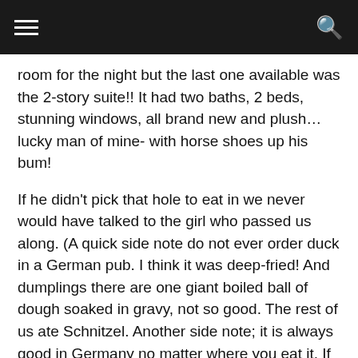☰  🔍
room for the night but the last one available was the 2-story suite!! It had two baths, 2 beds, stunning windows, all brand new and plush…lucky man of mine- with horse shoes up his bum!
If he didn't pick that hole to eat in we never would have talked to the girl who passed us along. (A quick side note do not ever order duck in a German pub. I think it was deep-fried! And dumplings there are one giant boiled ball of dough soaked in gravy, not so good. The rest of us ate Schnitzel. Another side note; it is always good in Germany no matter where you eat it. If it's a gas station or a fancy restaurant, Schnitzel is all the same.)
Anyways the room was something out of a dream and normally would have cost more than three times the price. And they threw in a buffet breakfast.